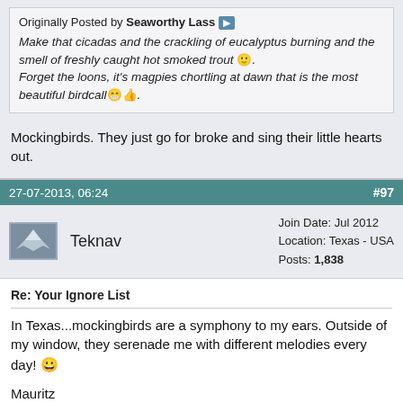Originally Posted by Seaworthy Lass
Make that cicadas and the crackling of eucalyptus burning and the smell of freshly caught hot smoked trout 🙂. Forget the loons, it's magpies chortling at dawn that is the most beautiful birdcall 👍.
Mockingbirds. They just go for broke and sing their little hearts out.
27-07-2013, 06:24  #97
Teknav  Join Date: Jul 2012  Location: Texas - USA  Posts: 1,838
Re: Your Ignore List
In Texas...mockingbirds are a symphony to my ears. Outside of my window, they serenade me with different melodies every day! 😄

Mauritz